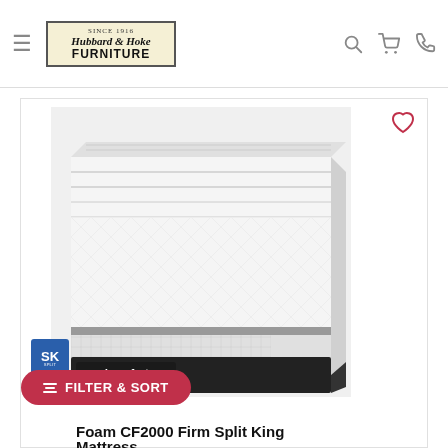Hubbard & Hoke Furniture — navigation header with hamburger menu, logo, search, cart, and phone icons
[Figure (photo): iComfort by Serta foam mattress product photo, showing corner of white quilted mattress with black base and 'icomfort by Serta' branding on side]
Foam CF2000 Firm Split King Mattress